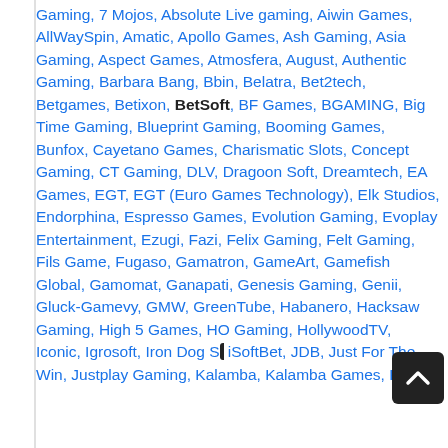Gaming, 7 Mojos, Absolute Live gaming, Aiwin Games, AllWaySpin, Amatic, Apollo Games, Ash Gaming, Asia Gaming, Aspect Games, Atmosfera, August, Authentic Gaming, Barbara Bang, Bbin, Belatra, Bet2tech, Betgames, Betixon, BetSoft, BF Games, BGAMING, Big Time Gaming, Blueprint Gaming, Booming Games, Bunfox, Cayetano Games, Charismatic Slots, Concept Gaming, CT Gaming, DLV, Dragoon Soft, Dreamtech, EA Games, EGT, EGT (Euro Games Technology), Elk Studios, Endorphina, Espresso Games, Evolution Gaming, Evoplay Entertainment, Ezugi, Fazi, Felix Gaming, Felt Gaming, Fils Game, Fugaso, Gamatron, GameArt, Gamefish Global, Gamomat, Ganapati, Genesis Gaming, Genii, Gluck-Gamevy, GMW, GreenTube, Habanero, Hacksaw Gaming, High 5 Games, HO Gaming, HollywoodTV, Iconic, Igrosoft, Iron Dog S[tudio], iSoftBet, JDB, Just For The Win, Justplay[Tech] Gaming, Kalamba, Kalamba Games, Kiron